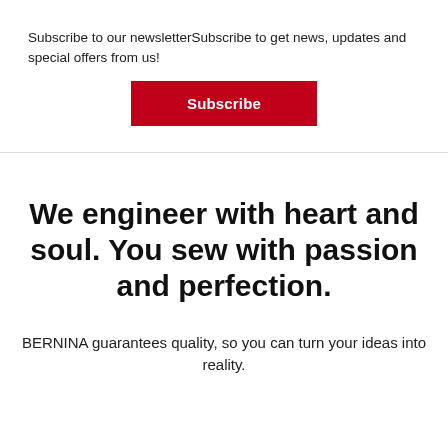Subscribe to our newsletterSubscribe to get news, updates and special offers from us!
[Figure (other): Red Subscribe button]
We engineer with heart and soul. You sew with passion and perfection.
BERNINA guarantees quality, so you can turn your ideas into reality.